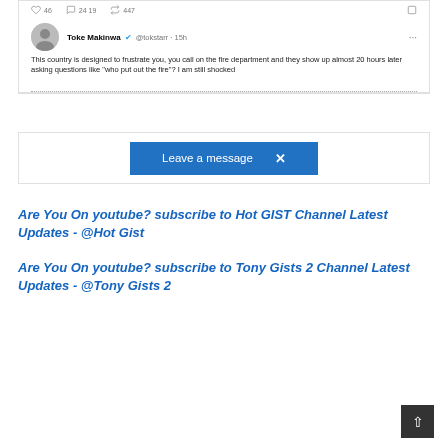[Figure (screenshot): Tweet from Toke Makinwa @tokstarr 15h: 'This country is designed to frustrate you, you call on the fire department and they show up almost 20 hours later asking questions like "who put out the fire"? I am still shocked']
Leave a message
Are You On youtube? subscribe to Hot GIST Channel Latest Updates - @Hot Gist
Are You On youtube? subscribe to Tony Gists 2 Channel Latest Updates - @Tony Gists 2